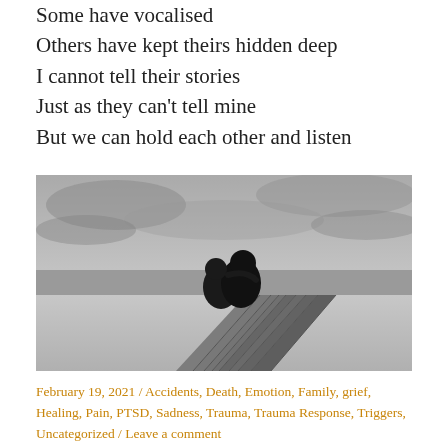Some have vocalised
Others have kept theirs hidden deep
I cannot tell their stories
Just as they can't tell mine
But we can hold each other and listen
[Figure (photo): Black and white photograph of two people sitting together on a wooden dock or pier, viewed from behind, with an overcast sky and water in the background.]
February 19, 2021 / Accidents, Death, Emotion, Family, grief, Healing, Pain, PTSD, Sadness, Trauma, Trauma Response, Triggers, Uncategorized / Leave a comment